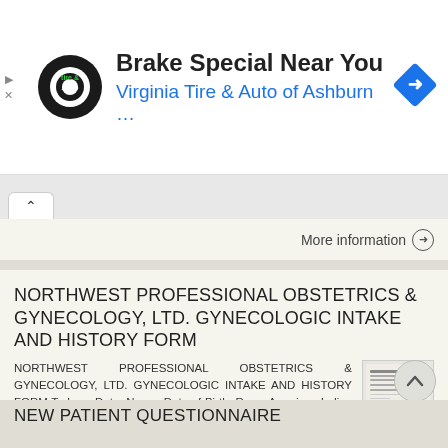[Figure (screenshot): Advertisement banner for Virginia Tire & Auto of Ashburn with logo and navigation icon]
More information →
NORTHWEST PROFESSIONAL OBSTETRICS & GYNECOLOGY, LTD. GYNECOLOGIC INTAKE AND HISTORY FORM
NORTHWEST PROFESSIONAL OBSTETRICS & GYNECOLOGY, LTD. GYNECOLOGIC INTAKE AND HISTORY FORM Today s Date: Name: Date of Birth: Race: American Indian or Alaskan Native Asian Black or African-American More
More information →
NEW PATIENT QUESTIONNAIRE